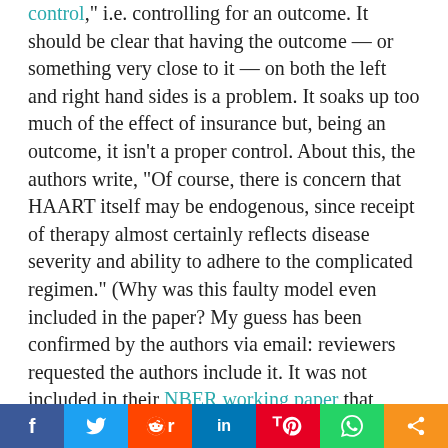control," i.e. controlling for an outcome. It should be clear that having the outcome — or something very close to it — on both the left and right hand sides is a problem. It soaks up too much of the effect of insurance but, being an outcome, it isn't a proper control. About this, the authors write, "Of course, there is concern that HAART itself may be endogenous, since receipt of therapy almost certainly reflects disease severity and ability to adhere to the complicated regimen." (Why was this faulty model even included in the paper? My guess has been confirmed by the authors via email: reviewers requested the authors include it. It was not included in their NBER working paper that predates the peer reviewed one. It really is too bad this model was inserted into the paper because it seems to have
[Figure (other): Social sharing bar with buttons for Facebook, Twitter, Reddit, LinkedIn, Pinterest, WhatsApp, and share]